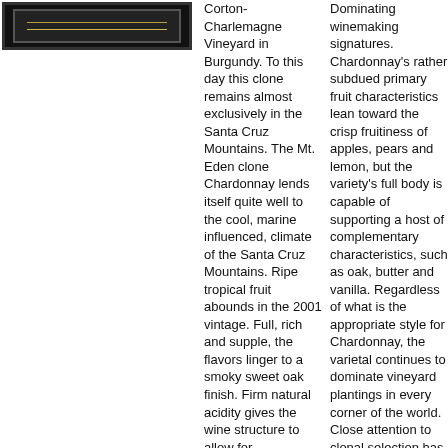[Figure (photo): Dark framed wine label or book cover with gold horizontal lines on black background]
Corton-Charlemagne Vineyard in Burgundy. To this day this clone remains almost exclusively in the Santa Cruz Mountains. The Mt. Eden clone Chardonnay lends itself quite well to the cool, marine influenced, climate of the Santa Cruz Mountains. Ripe tropical fruit abounds in the 2001 vintage. Full, rich and supple, the flavors linger to a smoky sweet oak finish. Firm natural acidity gives the wine structure to allow for
Dominating winemaking signatures. Chardonnay's rather subdued primary fruit characteristics lean toward the crisp fruitiness of apples, pears and lemon, but the variety's full body is capable of supporting a host of complementary characteristics, such as oak, butter and vanilla. Regardless of what is the appropriate style for Chardonnay, the varietal continues to dominate vineyard plantings in every corner of the world. Close attention to clonal selection has made this